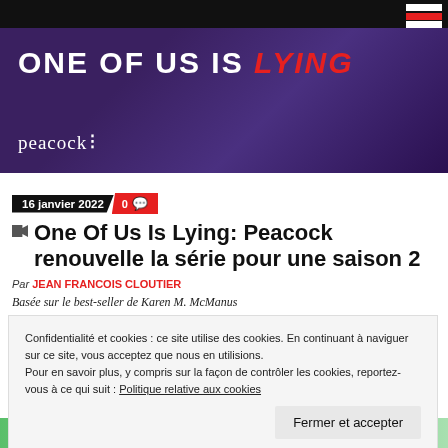[Figure (photo): Hero banner image for 'One Of Us Is Lying' on Peacock streaming platform, showing text 'ONE OF US IS LYING' with Peacock logo, purple-tinted crowd background]
16 janvier 2022  0
One Of Us Is Lying: Peacock renouvelle la série pour une saison 2
Par JEAN FRANCOIS CLOUTIER
Basée sur le best-seller de Karen M. McManus
Confidentialité et cookies : ce site utilise des cookies. En continuant à naviguer sur ce site, vous acceptez que nous en utilisions. Pour en savoir plus, y compris sur la façon de contrôler les cookies, reportez-vous à ce qui suit : Politique relative aux cookies
Fermer et accepter
[Figure (photo): Bottom strip showing partial image, green/teal toned]